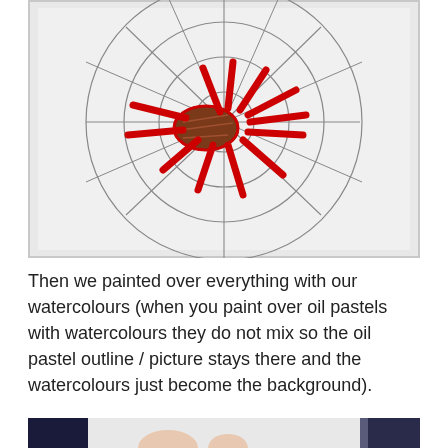[Figure (photo): Child's drawing of a red spider (crayon/oil pastel) on a spider web pattern drawn in pencil on white paper. The spider has a reddish-brown oval body with many red legs radiating outward, centered on concentric circles with radial lines forming a web.]
Then we painted over everything with our watercolours (when you paint over oil pastels with watercolours they do not mix so the oil pastel outline / picture stays there and the watercolours just become the background).
[Figure (photo): Partial photo of a child's hands and a white sheet of paper on a table, partially visible at the bottom of the page.]